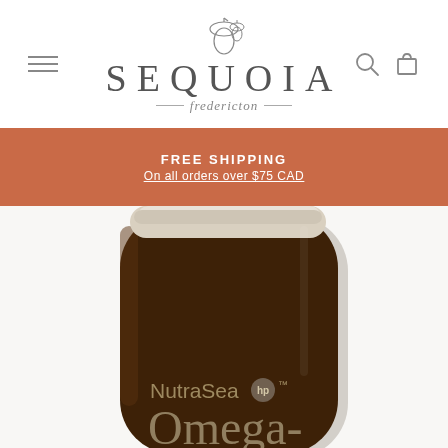[Figure (logo): Sequoia Fredericton logo with acorn icon, hamburger menu, search and cart icons]
FREE SHIPPING
On all orders over $75 CAD
[Figure (photo): Close-up of a dark brown supplement bottle with white cap, labeled NutraSea hp Omega-3]